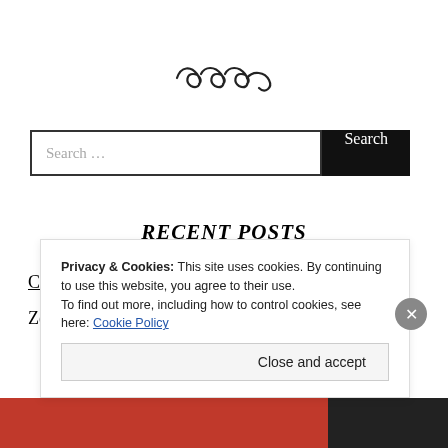[Figure (illustration): Decorative swirl/flourish ornament centered near top of page]
Search …
RECENT POSTS
Changes
Zen and Science
Privacy & Cookies: This site uses cookies. By continuing to use this website, you agree to their use.
To find out more, including how to control cookies, see here: Cookie Policy
Close and accept